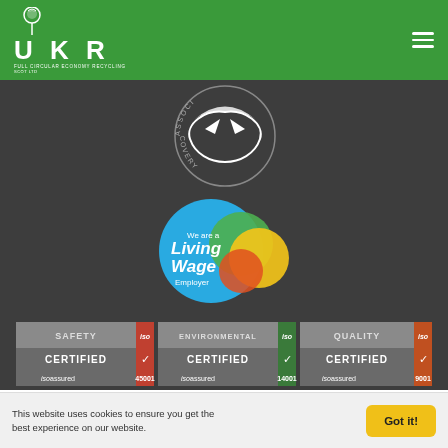[Figure (logo): UKR Full Circular Economy Recycling logo with white thistle emblem on green header background]
[Figure (logo): Recovery Association circular logo (partially visible, flipped upside down) on dark grey background]
[Figure (logo): Living Wage Employer circular badge with blue, green, yellow, and orange overlapping circles on dark grey background]
[Figure (other): Three ISO certification badges: ISO 45001 Safety Certified, ISO 14001 Environmental Certified, ISO 9001 Quality Certified]
All content is copyright © UKR.
MRF: Park Street, Motherwell ML1 1PU.
Head Office: 196 Bath Street, Glasgow G2 4HG.
Registered Office: 20 Anderson Street, Airdrie ML6 0AA.
This website uses cookies to ensure you get the best experience on our website.